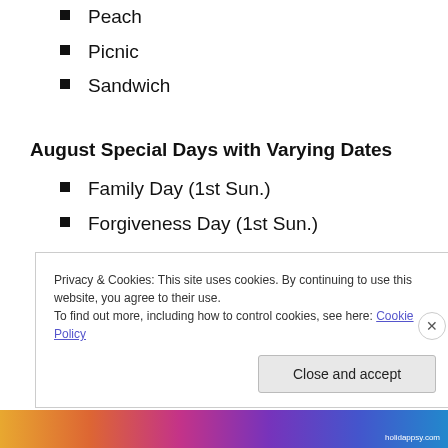Peach
Picnic
Sandwich
August Special Days with Varying Dates
Family Day (1st Sun.)
Forgiveness Day (1st Sun.)
Friendship Day (1st Sun.)
Assistance Dog Week (1st Sun.)
Privacy & Cookies: This site uses cookies. By continuing to use this website, you agree to their use.
To find out more, including how to control cookies, see here: Cookie Policy